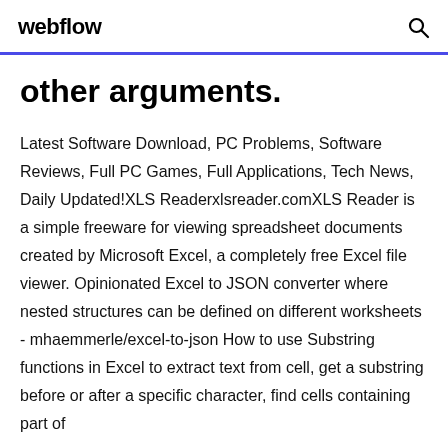webflow
other arguments.
Latest Software Download, PC Problems, Software Reviews, Full PC Games, Full Applications, Tech News, Daily Updated!XLS Readerxlsreader.comXLS Reader is a simple freeware for viewing spreadsheet documents created by Microsoft Excel, a completely free Excel file viewer. Opinionated Excel to JSON converter where nested structures can be defined on different worksheets - mhaemmerle/excel-to-json How to use Substring functions in Excel to extract text from cell, get a substring before or after a specific character, find cells containing part of